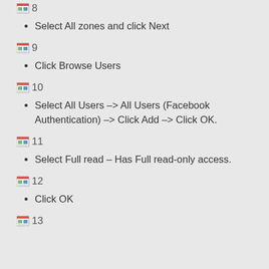[Figure (other): Image placeholder icon labeled 8]
Select All zones and click Next
[Figure (other): Image placeholder icon labeled 9]
Click Browse Users
[Figure (other): Image placeholder icon labeled 10]
Select All Users –> All Users (Facebook Authentication) –> Click Add –> Click OK.
[Figure (other): Image placeholder icon labeled 11]
Select Full read – Has Full read-only access.
[Figure (other): Image placeholder icon labeled 12]
Click OK
[Figure (other): Image placeholder icon labeled 13]